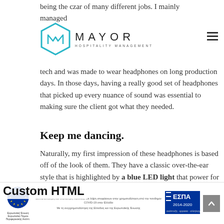being the czar of many different jobs. I mainly managed
[Figure (logo): Mayor Hospitality Management logo: hexagonal outline with stylized M inside, text MAYOR and HOSPITALITY MANAGEMENT below]
production, work as an audio tech and was made to wear headphones on long production days. In those days, having a really good set of headphones that picked up every nuance of sound was essential to making sure the client got what they needed.
Keep me dancing.
Naturally, my first impression of these headphones is based off of the look of them. They have a classic over-the-ear style that is highlighted by a blue LED light that
power for the noise canceling. The padding on the ear pieces seems adequate for extended usage
Custom HTML
Ευρωπαϊκή Ένωση | Ευρωπαϊκό Ταμείο Περιφερειακής Ανάπτυξης | Με τη συγχρηματοδότηση της Ελλάδας και της Ευρωπαϊκής Ένωσης | ΕΣΠΑ 2014-2020
...they are wired headphones, but the 6.3mm stereo mini